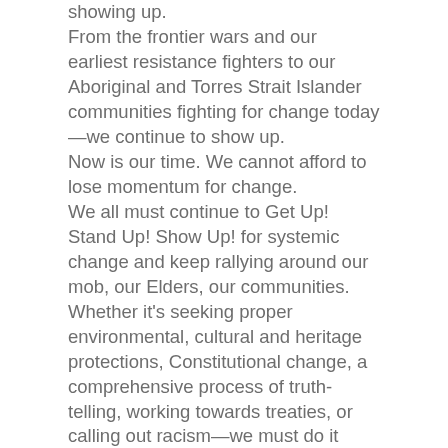showing up.
From the frontier wars and our earliest resistance fighters to our Aboriginal and Torres Strait Islander communities fighting for change today—we continue to show up.
Now is our time. We cannot afford to lose momentum for change.
We all must continue to Get Up! Stand Up! Show Up! for systemic change and keep rallying around our mob, our Elders, our communities.
Whether it's seeking proper environmental, cultural and heritage protections, Constitutional change, a comprehensive process of truth-telling, working towards treaties, or calling out racism—we must do it together.
It must be a genuine commitment by all of us to Get Up! Stand Up! Show Up! and support and secure institutional, structural, collaborative, and cooperative reforms.
It's also time to celebrate the many who have driven and led change in our communities over generations—they have been the heroes and champions of change, of